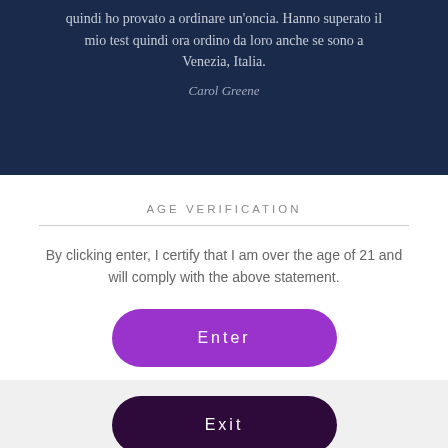quindi ho provato a ordinare un'oncia. Hanno superato il mio test quindi ora ordino da loro anche se sono a Venezia, Italia.
Carol Greene
AGE VERIFICATION
By clicking enter, I certify that I am over the age of 21 and will comply with the above statement.
[Figure (other): Purple rounded Enter button]
OR
[Figure (other): Dark purple rounded Exit button]